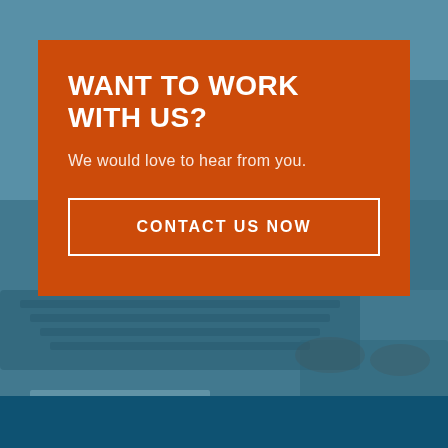[Figure (photo): Blue-tinted blurred background photo of a person typing on a laptop keyboard at a desk, with a dark navy bar at the bottom]
WANT TO WORK WITH US?
We would love to hear from you.
CONTACT US NOW